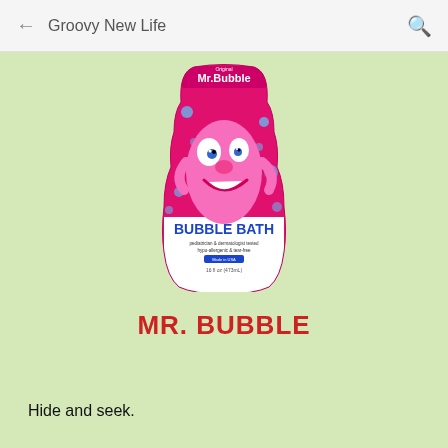Groovy New Life
[Figure (photo): Mr. Bubble Bubble Bath product bottle — pink bottle with cartoon Mr. Bubble character, text reads 'Mr. Bubble BUBBLE BATH pediatrician & dermatologist tested hypo-allergenic & tear-free']
MR. BUBBLE
Hide and seek.